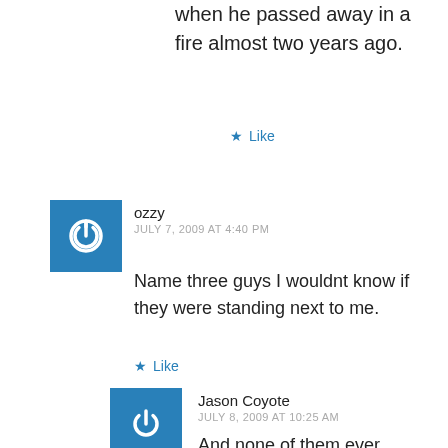when he passed away in a fire almost two years ago.
★ Like
ozzy
JULY 7, 2009 AT 4:40 PM
Name three guys I wouldnt know if they were standing next to me.
★ Like
Jason Coyote
JULY 8, 2009 AT 10:25 AM
And none of them ever appeared